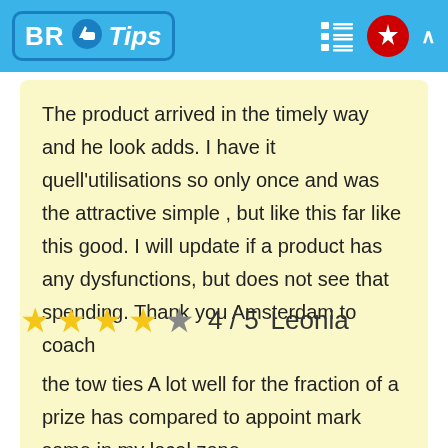BR Tips
The product arrived in the timely way and he look adds. I have it quell'utilisations so only once and was the attractive simple , but like this far like this good. I will update if a product has any dysfunctions, but does not see that spending. Thank you Amsterdam to coach
4 / 5  Leonia
the tow ties A lot well for the fraction of a prize has compared to appoint mark some in my local zone...